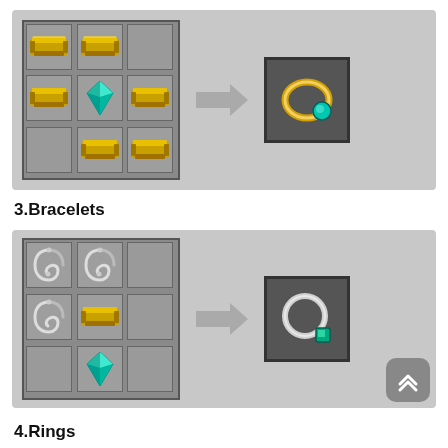[Figure (screenshot): Minecraft crafting recipe showing gold ingots and a diamond arranged in a 3x3 grid producing a ring item. Top two rows have gold ingots in positions, middle row has gold, diamond, gold. Bottom row has two gold ingots. Arrow points to result: a golden ring with diamond.]
3.Bracelets
[Figure (screenshot): Minecraft crafting recipe for a bracelet. Grid shows: row1: chain, chain, empty; row2: chain, gold ingot, empty; row3: empty, diamond, empty. Arrow points to result: a bracelet item (circular ring with teal gem).]
4.Rings